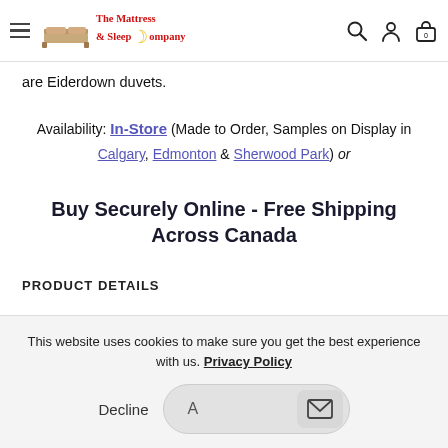The Mattress & Sleep Company
are Eiderdown duvets.
Availability: In-Store (Made to Order, Samples on Display in Calgary, Edmonton & Sherwood Park) or
Buy Securely Online - Free Shipping Across Canada
PRODUCT DETAILS
This website uses cookies to make sure you get the best experience with us. Privacy Policy
Decline